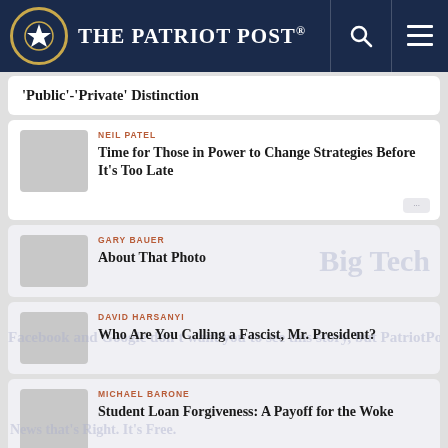The Patriot Post
'Public'-'Private' Distinction
NEIL PATEL — Time for Those in Power to Change Strategies Before It's Too Late
GARY BAUER — About That Photo
DAVID HARSANYI — Who Are You Calling a Fascist, Mr. President?
MICHAEL BARONE — Student Loan Forgiveness: A Payoff for the Woke
INSTITUTE FOR FAITH & FREEDOM — Troubling New Research on Political Bias and Bigotry